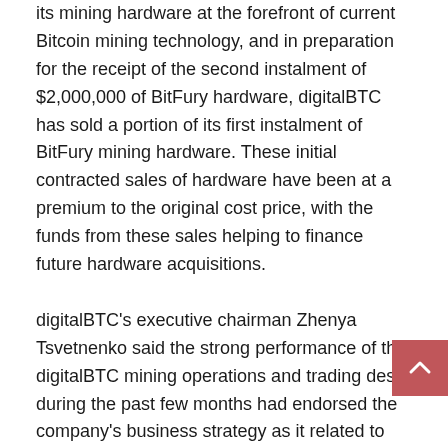its mining hardware at the forefront of current Bitcoin mining technology, and in preparation for the receipt of the second instalment of $2,000,000 of BitFury hardware, digitalBTC has sold a portion of its first instalment of BitFury mining hardware. These initial contracted sales of hardware have been at a premium to the original cost price, with the funds from these sales helping to finance future hardware acquisitions.
digitalBTC's executive chairman Zhenya Tsvetnenko said the strong performance of the digitalBTC mining operations and trading desk during the past few months had endorsed the company's business strategy as it related to mining and trading of Bitcoin.
“We are very pleased with our initial Bitcoin mining operations, including the returns generated by liquidating a portion of the hardware at a premium to the cost price to keep at the forefront of mining technology,” said Tsvetnenko.